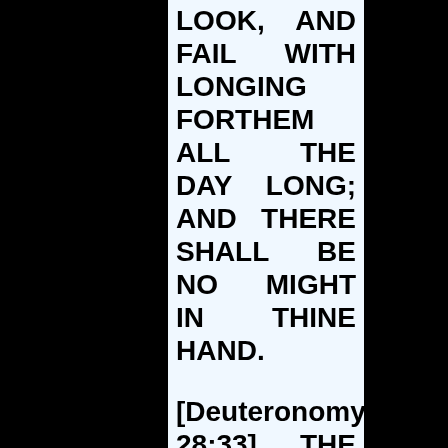LOOK, AND FAIL WITH LONGING FORTHEM ALL THE DAY LONG; AND THERE SHALL BE NO MIGHT IN THINE HAND.

[Deuteronomy 28:33] THE FRUIT OF THY LAND, AND ALL THY